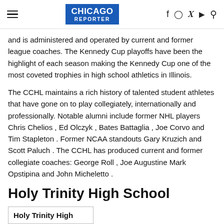CHICAGO REPORTER
and is administered and operated by current and former league coaches. The Kennedy Cup playoffs have been the highlight of each season making the Kennedy Cup one of the most coveted trophies in high school athletics in Illinois.
The CCHL maintains a rich history of talented student athletes that have gone on to play collegiately, internationally and professionally. Notable alumni include former NHL players Chris Chelios , Ed Olczyk , Bates Battaglia , Joe Corvo and Tim Stapleton . Former NCAA standouts Gary Kruzich and Scott Paluch . The CCHL has produced current and former collegiate coaches: George Roll , Joe Augustine Mark Opstipina and John Micheletto .
Holy Trinity High School
| Holy Trinity High |
| --- |